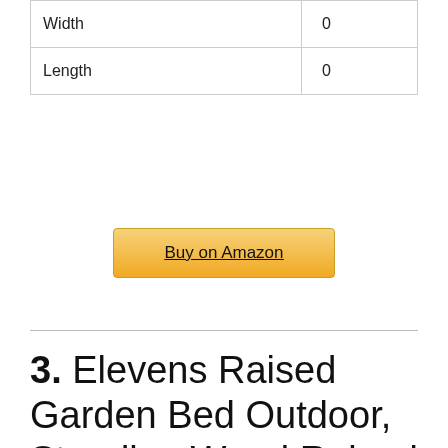| Width | 0 |
| Length | 0 |
Buy on Amazon
3. Elevens Raised Garden Bed Outdoor, Standing Wood Raised Garden Boxes for Vegetables, Flowers and Herbs, Elevated Planter Box with